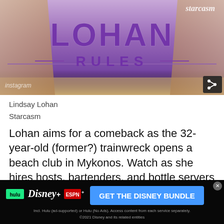[Figure (screenshot): Banner image for 'Lohan Rules' show featuring large purple text 'LOHAN RULES' with decorative lines, Starcasm logo in top right, legs visible on sides suggesting beach setting, share button bottom right, Instagram tag bottom left]
Lindsay Lohan
Starcasm
Lohan aims for a comeback as the 32-year-old (former?) trainwreck opens a beach club in Mykonos. Watch as she hires hosts, bartenders, and bottle servers but gives them the title of "ambassadors." It will probably be bland and cringe-worthy, but with Lohan's applicants saying lines like, "If I knew I was
[Figure (screenshot): Disney Bundle advertisement banner showing Hulu, Disney+, ESPN+ logos with blue CTA button 'GET THE DISNEY BUNDLE' and fine print about subscription details]